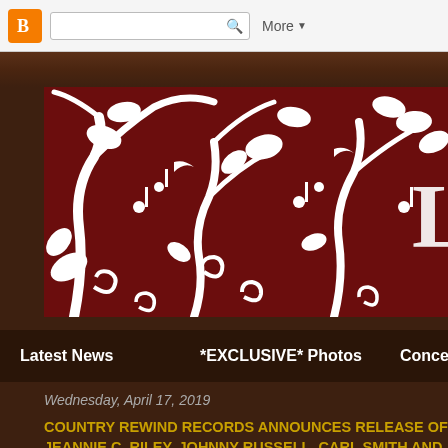Blogger navigation bar with search
[Figure (illustration): Dark red/maroon banner with white decorative floral and musical note silhouette design, vines, leaves, birds, and a large letter L visible at the right edge]
Latest News   *EXCLUSIVE* Photos   Conce...
Wednesday, April 17, 2019
COUNTRY REWIND RECORDS ANNOUNCES RELEASE OF JEANNIE C. RILEY, JOHNNY RUSSELL, CARL SMITH AND MOUNTAIN BLUEGRASS BAND